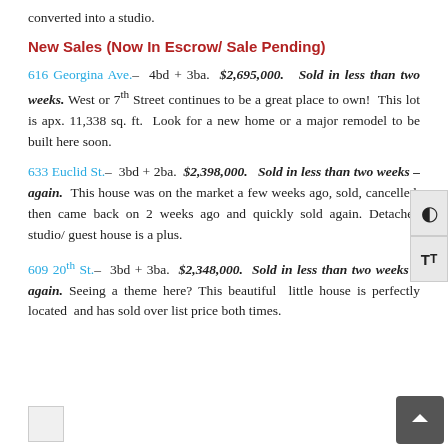converted into a studio.
New Sales (Now In Escrow/ Sale Pending)
616 Georgina Ave.– 4bd + 3ba. $2,695,000. Sold in less than two weeks. West or 7th Street continues to be a great place to own! This lot is apx. 11,338 sq. ft. Look for a new home or a major remodel to be built here soon.
633 Euclid St.– 3bd + 2ba. $2,398,000. Sold in less than two weeks – again. This house was on the market a few weeks ago, sold, cancelled, then came back on 2 weeks ago and quickly sold again. Detached studio/ guest house is a plus.
609 20th St.– 3bd + 3ba. $2,348,000. Sold in less than two weeks – again. Seeing a theme here? This beautiful little house is perfectly located and has sold over list price both times.
[Figure (photo): Small image thumbnail at bottom of page]